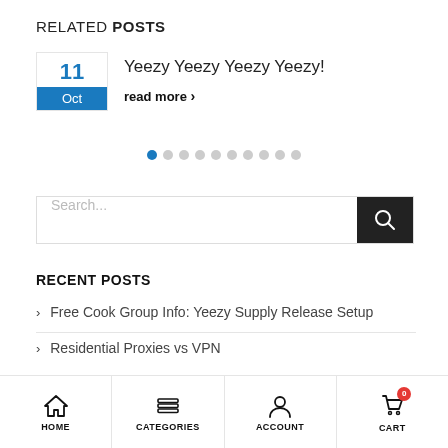RELATED POSTS
Yeezy Yeezy Yeezy Yeezy!
read more ›
[Figure (other): Pagination dots: 10 dots, first one highlighted in blue]
Search...
RECENT POSTS
› Free Cook Group Info: Yeezy Supply Release Setup
› Residential Proxies vs VPN
HOME | CATEGORIES | ACCOUNT | CART